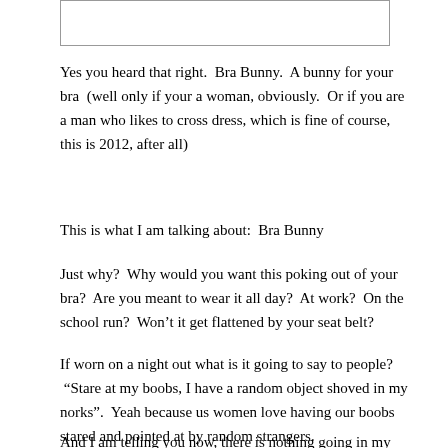[Figure (other): Empty white rectangle with border, likely an image placeholder for a Bra Bunny product photo]
Yes you heard that right.  Bra Bunny.  A bunny for your bra  (well only if your a woman, obviously.  Or if you are a man who likes to cross dress, which is fine of course, this is 2012, after all)
This is what I am talking about:  Bra Bunny
Just why?  Why would you want this poking out of your bra?  Are you meant to wear it all day?  At work?  On the school run?  Won't it get flattened by your seat belt?
If worn on a night out what is it going to say to people?  “Stare at my boobs, I have a random object shoved in my norks”.  Yeah because us women love having our boobs stared and pointed at by random strangers.
And I am telling you now, there is nothing going in my